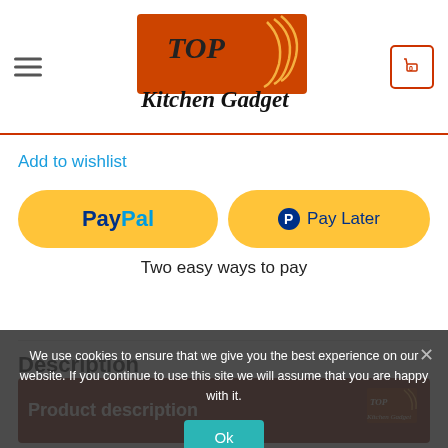Top Kitchen Gadget — navigation header with hamburger menu, logo, and cart icon showing 0
Add to wishlist
[Figure (screenshot): PayPal button (gold/yellow rounded rectangle) with PayPal logo in blue text]
[Figure (screenshot): Pay Later button (gold/yellow rounded rectangle) with PayPal P icon and 'Pay Later' text in blue]
Two easy ways to pay
Description
[Figure (screenshot): Product description section with dark red background showing 'Product description' text and Top Kitchen Gadget logo]
We use cookies to ensure that we give you the best experience on our website. If you continue to use this site we will assume that you are happy with it.